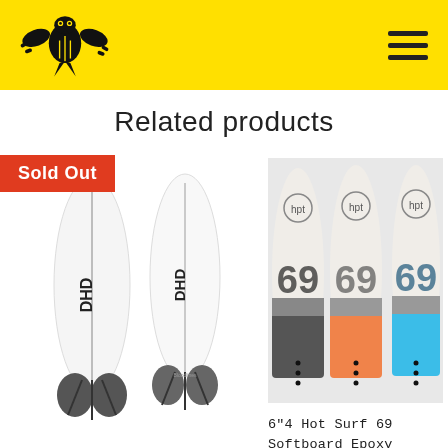Related products
[Figure (photo): Two white surfboards (DHD brand) shown side by side with a 'Sold Out' red badge in the top-left corner]
[Figure (photo): Three Hot Surf 69 Softboards shown side by side — black/grey, orange/grey, and blue/grey color schemes — with 'hpt' logo and large '69' graphic on each]
6"4 Hot Surf 69 Softboard Epoxy Layered Soft Top